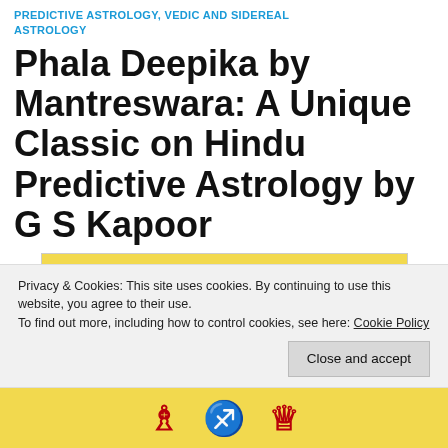PREDICTIVE ASTROLOGY, VEDIC AND SIDEREAL ASTROLOGY
Phala Deepika by Mantreswara: A Unique Classic on Hindu Predictive Astrology by G S Kapoor
[Figure (photo): Book cover of Phala Deepika by Mantreswara, yellow background with dark blue italic title text and a red line under the author name MANTRESWARA'S]
Privacy & Cookies: This site uses cookies. By continuing to use this website, you agree to their use.
To find out more, including how to control cookies, see here: Cookie Policy
Close and accept